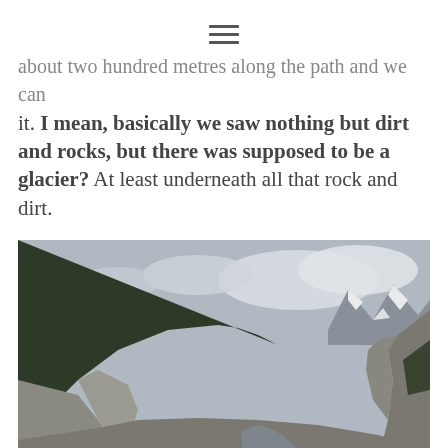≡ (hamburger menu icon)
...about two hundred metres along the path and we can it. I mean, basically we saw nothing but dirt and rocks, but there was supposed to be a glacier? At least underneath all that rock and dirt.
[Figure (photo): Panoramic view of a glacier valley showing rocky moraine, steep mountain walls covered with forest on the left, snow-capped peaks in the background, a rocky riverbed, and two figures on stairs at the lower right. Overcast sky.]